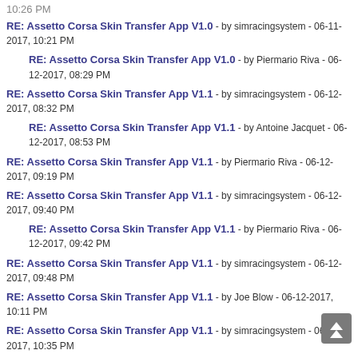10:26 PM
RE: Assetto Corsa Skin Transfer App V1.0 - by simracingsystem - 06-11-2017, 10:21 PM
RE: Assetto Corsa Skin Transfer App V1.0 - by Piermario Riva - 06-12-2017, 08:29 PM
RE: Assetto Corsa Skin Transfer App V1.1 - by simracingsystem - 06-12-2017, 08:32 PM
RE: Assetto Corsa Skin Transfer App V1.1 - by Antoine Jacquet - 06-12-2017, 08:53 PM
RE: Assetto Corsa Skin Transfer App V1.1 - by Piermario Riva - 06-12-2017, 09:19 PM
RE: Assetto Corsa Skin Transfer App V1.1 - by simracingsystem - 06-12-2017, 09:40 PM
RE: Assetto Corsa Skin Transfer App V1.1 - by Piermario Riva - 06-12-2017, 09:42 PM
RE: Assetto Corsa Skin Transfer App V1.1 - by simracingsystem - 06-12-2017, 09:48 PM
RE: Assetto Corsa Skin Transfer App V1.1 - by Joe Blow - 06-12-2017, 10:11 PM
RE: Assetto Corsa Skin Transfer App V1.1 - by simracingsystem - 06-12-2017, 10:35 PM
RE: Assetto Corsa Skin Transfer App V1.1 - by Lucas ONeille - 07-18-2017, 02:12 PM
RE: Assetto Corsa Skin Transfer App V1.1 - by Ian Wigan - 08-04-2017, 09:25 PM
RE: Assetto Corsa Skin Transfer App V1.1 - by simracingsystem - 08-04-2017, 10:36 PM
RE: Assetto Corsa Skin Transfer App V1.1 - by Ian Wigan - 08-05-2017, 03:11 PM